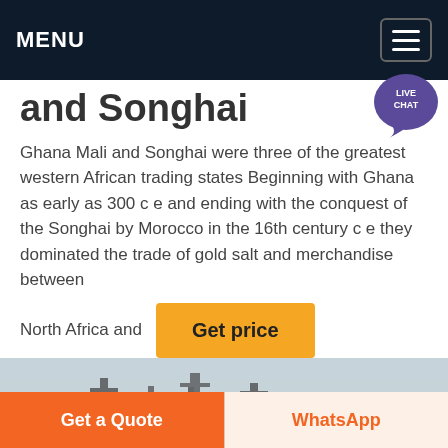MENU
and Songhai
Ghana Mali and Songhai were three of the greatest western African trading states Beginning with Ghana as early as 300 c e and ending with the conquest of the Songhai by Morocco in the 16th century c e they dominated the trade of gold salt and merchandise between North Africa and
[Figure (photo): Industrial or mining structures silhouetted against a hazy sky with palm trees in the background]